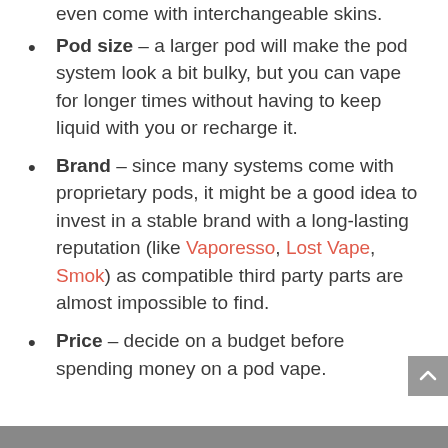even come with interchangeable skins.
Pod size – a larger pod will make the pod system look a bit bulky, but you can vape for longer times without having to keep liquid with you or recharge it.
Brand – since many systems come with proprietary pods, it might be a good idea to invest in a stable brand with a long-lasting reputation (like Vaporesso, Lost Vape, Smok) as compatible third party parts are almost impossible to find.
Price – decide on a budget before spending money on a pod vape.